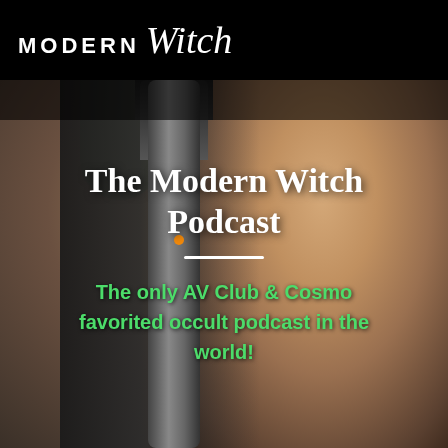[Figure (logo): Modern Witch logo in white text on black background. MODERN in bold uppercase sans-serif, Witch in cursive/script font.]
[Figure (photo): Selfie photo of a bearded man with wide surprised eyes behind a large studio microphone (appears to be a Rode NT type mic). Background shows a home studio setting with plants visible. Dark/moody tones with the microphone prominently in foreground.]
The Modern Witch Podcast
The only AV Club & Cosmo favorited occult podcast in the world!